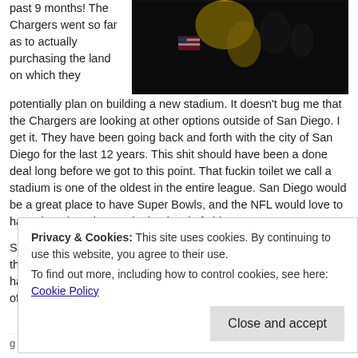past 9 months! The Chargers went so far as to actually purchasing the land on which they potentially plan on building a new stadium. It doesn't bug me that the Chargers are looking at other options outside of San Diego. I get it. They have been going back and forth with the city of San Diego for the last 12 years. This shit should have been a done deal long before we got to this point. That fuckin toilet we call a stadium is one of the oldest in the entire league. San Diego would be a great place to have Super Bowls, and the NFL would love to have them here but not in that bowl of shit.
[Figure (photo): Dark photo showing a person in yellow/gold sports gear with an American flag visible in the background]
So while I agree that the city has fucked this up for over a decade, the Chargers should have been upfront. If the Chargers would have been completely open with their needs and objectives, most of the fan bases would have understood.
Privacy & Cookies: This site uses cookies. By continuing to use this website, you agree to their use. To find out more, including how to control cookies, see here: Cookie Policy
Close and accept